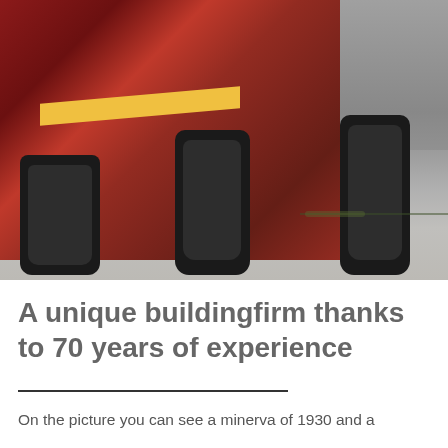[Figure (photo): Close-up photograph of large truck tires and red truck body on a road surface with a crack and small grass patch visible]
A unique buildingfirm thanks to 70 years of experience
On the picture you can see a minerva of 1930 and a